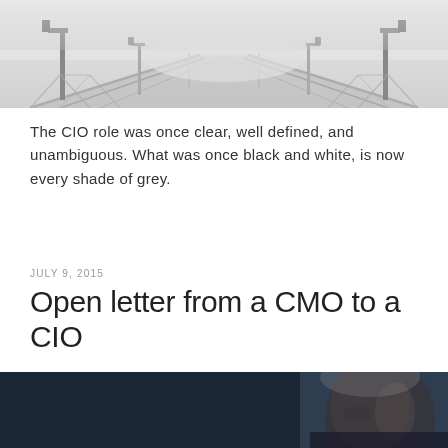[Figure (photo): Black and white photograph of a foggy bridge with lamp posts receding into the mist]
The CIO role was once clear, well defined, and unambiguous. What was once black and white, is now every shade of grey.
JULY 9, 2015
Open letter from a CMO to a CIO
[Figure (photo): Dark photograph showing an elderly man with white hair against a dark background, partial face visible]